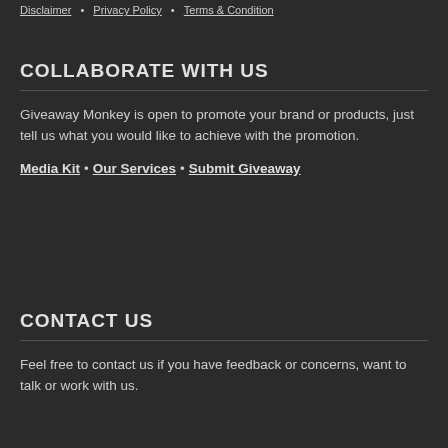Disclaimer • Privacy Policy • Terms & Condition
COLLABORATE WITH US
Giveaway Monkey is open to promote your brand or products, just tell us what you would like to achieve with the promotion.
Media Kit • Our Services • Submit Giveaway
CONTACT US
Feel free to contact us if you have feedback or concerns, want to talk or work with us.